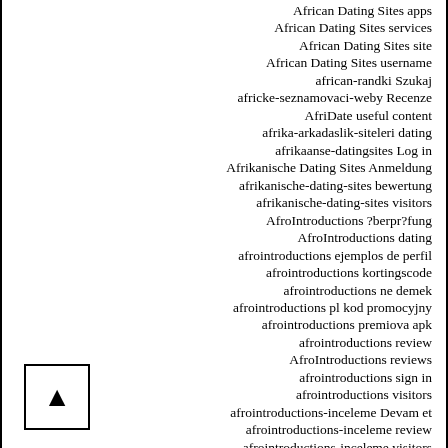African Dating Sites apps
African Dating Sites services
African Dating Sites site
African Dating Sites username
african-randki Szukaj
africke-seznamovaci-weby Recenze
AfriDate useful content
afrika-arkadaslik-siteleri dating
afrikaanse-datingsites Log in
Afrikanische Dating Sites Anmeldung
afrikanische-dating-sites bewertung
afrikanische-dating-sites visitors
AfroIntroductions ?berpr?fung
AfroIntroductions dating
afrointroductions ejemplos de perfil
afrointroductions kortingscode
afrointroductions ne demek
afrointroductions pl kod promocyjny
afrointroductions premiova apk
afrointroductions review
AfroIntroductions reviews
afrointroductions sign in
afrointroductions visitors
afrointroductions-inceleme Devam et
afrointroductions-inceleme review
afrointroductions-inceleme visitors
afroromance App gratuita